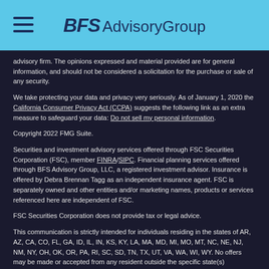BFS Advisory Group
advisory firm. The opinions expressed and material provided are for general information, and should not be considered a solicitation for the purchase or sale of any security.
We take protecting your data and privacy very seriously. As of January 1, 2020 the California Consumer Privacy Act (CCPA) suggests the following link as an extra measure to safeguard your data: Do not sell my personal information.
Copyright 2022 FMG Suite.
Securities and investment advisory services offered through FSC Securities Corporation (FSC), member FINRA/SIPC. Financial planning services offered through BFS Advisory Group, LLC, a registered investment advisor. Insurance is offered by Debra Brennan Tagg as an independent insurance agent. FSC is separately owned and other entities and/or marketing names, products or services referenced here are independent of FSC.
FSC Securities Corporation does not provide tax or legal advice.
This communication is strictly intended for individuals residing in the states of AR, AZ, CA, CO, FL, GA, ID, IL, IN, KS, KY, LA, MA, MD, MI, MO, MT, NC, NE, NJ, NM, NY, OH, OK, OR, PA, RI, SC, SD, TN, TX, UT, VA, WA, WI, WY. No offers may be made or accepted from any resident outside the specific state(s) referenced.